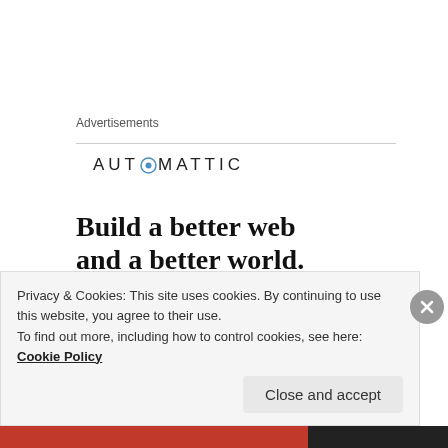Advertisements
[Figure (logo): Automattic logo with stylized 'O' in blue circle, all caps text: AUTOMATTIC]
Build a better web and a better world.
[Figure (photo): Circular photo of a man with glasses and beard on a grey circular background]
Apply
Privacy & Cookies: This site uses cookies. By continuing to use this website, you agree to their use.
To find out more, including how to control cookies, see here: Cookie Policy
Close and accept